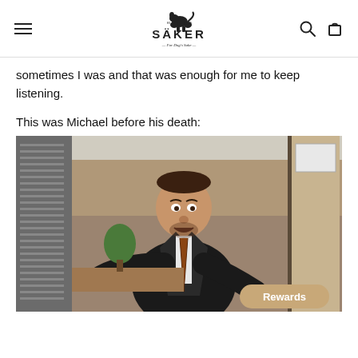SÄKER — For Dog's Sake —
sometimes I was and that was enough for me to keep listening.
This was Michael before his death:
[Figure (photo): Screenshot from The Office TV show showing Michael Scott in a dark suit and tie, standing in the Dunder Mifflin office with arms spread, looking surprised. A 'Rewards' button overlay is in the bottom-right corner.]